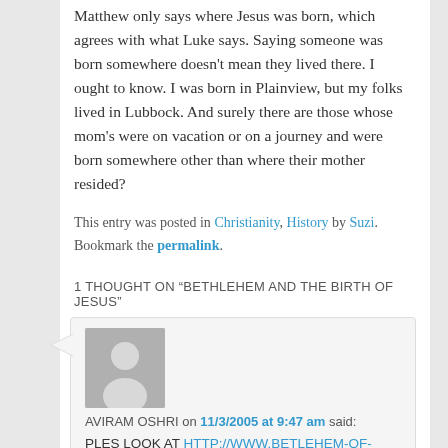Matthew only says where Jesus was born, which agrees with what Luke says. Saying someone was born somewhere doesn't mean they lived there. I ought to know. I was born in Plainview, but my folks lived in Lubbock. And surely there are those whose mom's were on vacation or on a journey and were born somewhere other than where their mother resided?
This entry was posted in Christianity, History by Suzi. Bookmark the permalink.
1 THOUGHT ON "BETHLEHEM AND THE BIRTH OF JESUS"
[Figure (other): Generic user avatar placeholder image - grey silhouette of a person on grey background]
AVIRAM OSHRI on 11/3/2005 at 9:47 am said:
PLES LOOK AT http://www.bETLEHEM-OF-gALILEE.ORG. IT MAY ANSWER SOME QWESTIOINS YOU HAVE.